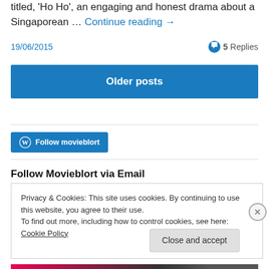titled, 'Ho Ho', an engaging and honest drama about a Singaporean … Continue reading →
19/06/2015
5 Replies
Older posts
[Figure (other): WordPress Follow button: Follow movieblort]
Follow Movieblort via Email
Privacy & Cookies: This site uses cookies. By continuing to use this website, you agree to their use.
To find out more, including how to control cookies, see here: Cookie Policy
Close and accept